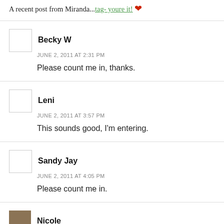A recent post from Miranda...tag- youre it! ❤
Becky W
JUNE 2, 2011 AT 2:31 PM
Please count me in, thanks.
Leni
JUNE 2, 2011 AT 3:57 PM
This sounds good, I'm entering.
Sandy Jay
JUNE 2, 2011 AT 4:05 PM
Please count me in.
Nicole